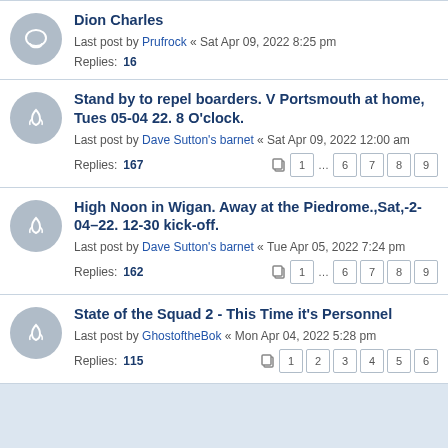Dion Charles
Last post by Prufrock « Sat Apr 09, 2022 8:25 pm
Replies: 16
Stand by to repel boarders. V Portsmouth at home, Tues 05-04 22. 8 O'clock.
Last post by Dave Sutton's barnet « Sat Apr 09, 2022 12:00 am
Replies: 167
Pages: 1 ... 6 7 8 9
High Noon in Wigan. Away at the Piedrome.,Sat,-2-04–22. 12-30 kick-off.
Last post by Dave Sutton's barnet « Tue Apr 05, 2022 7:24 pm
Replies: 162
Pages: 1 ... 6 7 8 9
State of the Squad 2 - This Time it's Personnel
Last post by GhostoftheBok « Mon Apr 04, 2022 5:28 pm
Replies: 115
Pages: 1 2 3 4 5 6